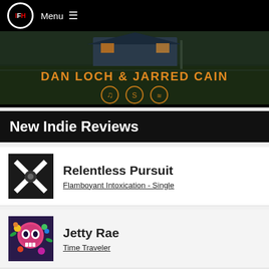IFH | Menu
[Figure (photo): Banner image showing a house at dusk with text 'DAN LOCH & JARRED CAIN' in orange and music streaming icons below]
New Indie Reviews
[Figure (photo): Album cover for Relentless Pursuit - Flamboyant Intoxication Single, black and white geometric design]
Relentless Pursuit
Flamboyant Intoxication - Single
[Figure (photo): Album cover for Jetty Rae - Time Traveler, colorful skull with flowers]
Jetty Rae
Time Traveler